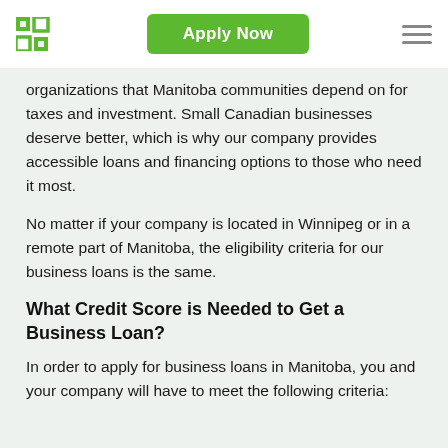Apply Now
organizations that Manitoba communities depend on for taxes and investment. Small Canadian businesses deserve better, which is why our company provides accessible loans and financing options to those who need it most.
No matter if your company is located in Winnipeg or in a remote part of Manitoba, the eligibility criteria for our business loans is the same.
What Credit Score is Needed to Get a Business Loan?
In order to apply for business loans in Manitoba, you and your company will have to meet the following criteria: